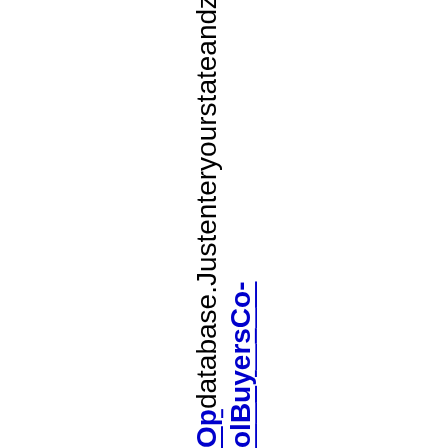ol Buyers Co-Op database. Just enter your state and zi